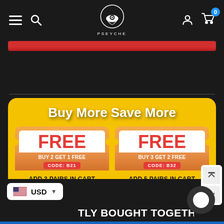[Figure (screenshot): PSEYCHE online store navigation bar with hamburger menu, search, logo, user account and cart icons on dark background]
[Figure (infographic): Yellow promo card titled 'Buy More Save More' with two coupon badges: BUY 2 GET 1 FREE (CODE: B21, ADD 3 PAIRS IN CART) and BUY 3 GET 2 FREE (CODE: B32, ADD 5 PAIRS IN CART)]
FREQUENTLY BOUGHT TOGETHER
USD